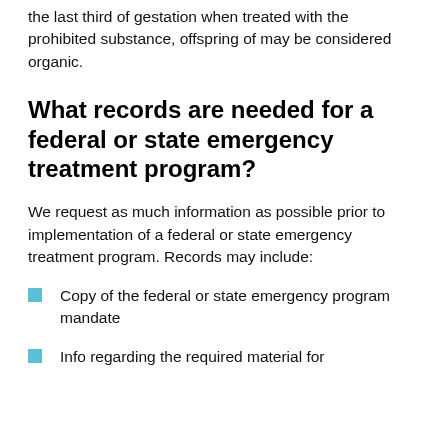the last third of gestation when treated with the prohibited substance, offspring of may be considered organic.
What records are needed for a federal or state emergency treatment program?
We request as much information as possible prior to implementation of a federal or state emergency treatment program. Records may include:
Copy of the federal or state emergency program mandate
Info regarding the required material for